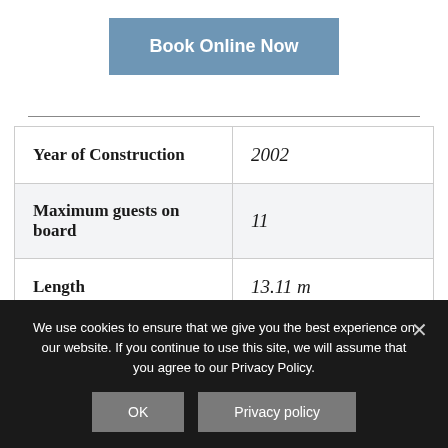Book Online Now
|  |  |
| --- | --- |
| Year of Construction | 2002 |
| Maximum guests on board | 11 |
| Length | 13.11 m |
| Beam | 4.32 m |
We use cookies to ensure that we give you the best experience on our website. If you continue to use this site, we will assume that you agree to our Privacy Policy.
OK
Privacy policy